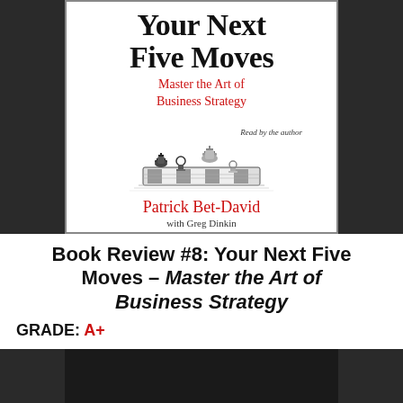[Figure (illustration): Book cover of 'Your Next Five Moves – Master the Art of Business Strategy' by Patrick Bet-David with Greg Dinkin. Features chess pieces illustration and 'Read by the author' note. Audiobook cover with white background and red/black text.]
Book Review #8: Your Next Five Moves – Master the Art of Business Strategy
GRADE: A+